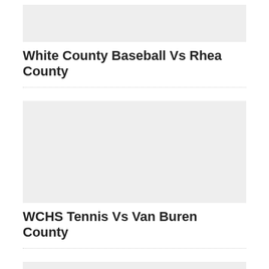[Figure (photo): Gray placeholder image block at top of page]
White County Baseball Vs Rhea County
[Figure (photo): Gray placeholder image block in the middle of the page]
WCHS Tennis Vs Van Buren County
[Figure (photo): Gray placeholder image block at the bottom of the page]